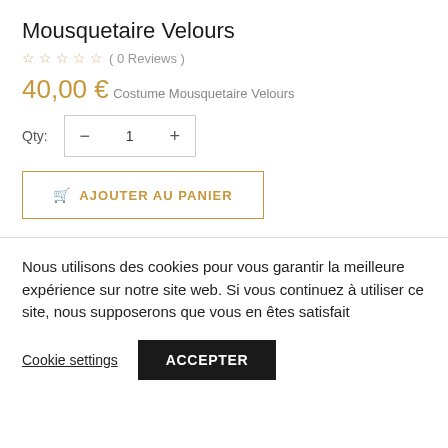Mousquetaire Velours
( 0 Reviews )
40,00 €
Costume Mousquetaire Velours
Qty:  −  1  +
AJOUTER AU PANIER
Nous utilisons des cookies pour vous garantir la meilleure expérience sur notre site web. Si vous continuez à utiliser ce site, nous supposerons que vous en êtes satisfait
Cookie settings
ACCEPTER